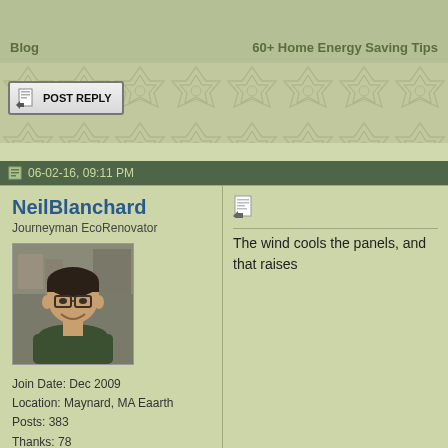Blog   60+ Home Energy Saving Tips
[Figure (screenshot): Decorative geometric pattern bar in olive/tan colors]
POST REPLY
06-02-16, 09:11 PM
NeilBlanchard
Journeyman EcoRenovator
[Figure (photo): Profile photo of NeilBlanchard, a smiling man wearing glasses and a dark green shirt]
Join Date: Dec 2009
Location: Maynard, MA Eaarth
Posts: 383
Thanks: 78
Thanked 39 Times in 32 Posts
The wind cools the panels, and that raises